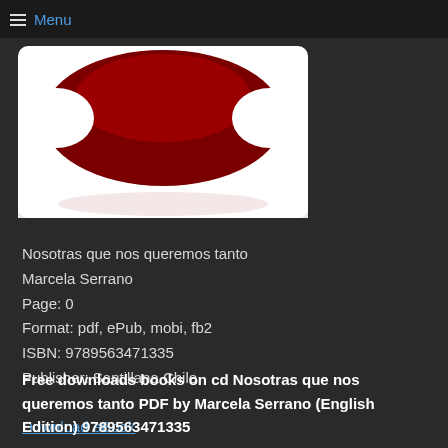Menu
[Figure (photo): Book cover for 'Nosotras que nos queremos tanto' by Marcela Serrano — dark red circular design on white background with reflection]
Nosotras que nos queremos tanto
Marcela Serrano
Page: 0
Format: pdf, ePub, mobi, fb2
ISBN: 9789563471335
Publisher: Santillana Chile
Download eBook
Free downloads books on cd Nosotras que nos queremos tanto PDF by Marcela Serrano (English Edition) 9789563471335